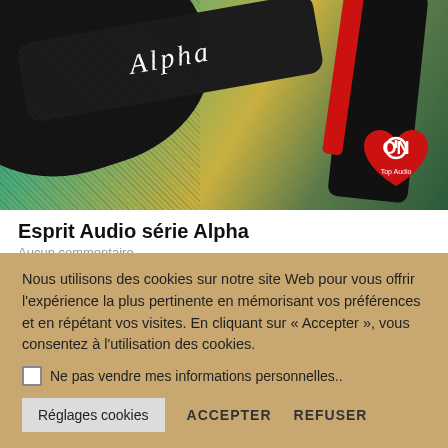[Figure (photo): Close-up photo of black audio cables with 'Alpha' branding sleeve on a colorful background (green, yellow, teal globe). A red wire is visible on the right. An 'ON Top Audio' heart-shaped badge is in the bottom right corner.]
Esprit Audio série Alpha
Aucun commentaire
Test câbles Esprit Audio série Alpha : Des liaisons Hi-Fi
Nous utilisons des cookies sur notre site Web pour vous offrir l'expérience la plus pertinente en mémorisant vos préférences et en répétant vos visites. En cliquant sur « Accepter », vous consentez à l'utilisation des cookies.
Ne pas vendre mes informations personnelles..
Réglages cookies   ACCEPTER   REFUSER